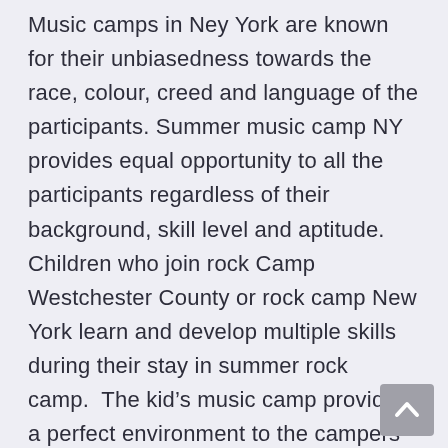Music camps in Ney York are known for their unbiasedness towards the race, colour, creed and language of the participants. Summer music camp NY provides equal opportunity to all the participants regardless of their background, skill level and aptitude. Children who join rock Camp Westchester County or rock camp New York learn and develop multiple skills during their stay in summer rock camp.  The kid’s music camp provides a perfect environment to the campers so that they can boost up their developed skills and take out t
heir hidden skills. As far as the legal issues are concerned for the music camps in NY; the criterion differs from academy to academy. However some common criterion adopted by the music camp Westchester and music camp new York include: a